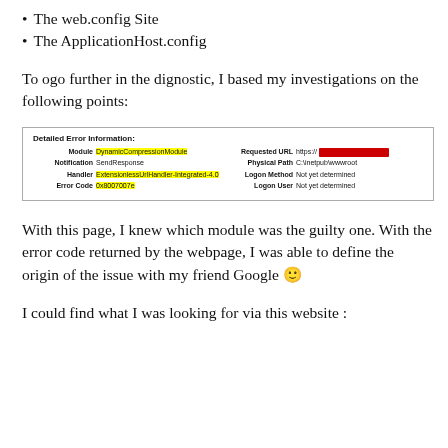The web.config Site
The ApplicationHost.config
To ogo further in the dignostic, I based my investigations on the following points:
[Figure (screenshot): Screenshot of an IIS Detailed Error Information panel showing: Module: DynamicCompressionModule (highlighted yellow), Notification: SendResponse, Handler: ExtensionlessUrlHandler-Integrated-4.0 (highlighted yellow), Error Code: 0x8007007e (highlighted yellow), Requested URL: https://[redacted in red], Physical Path: C:\inetpub\wwwroot, Logon Method: Not yet determined, Logon User: Not yet determined]
With this page, I knew which module was the guilty one. With the error code returned by the webpage, I was able to define the origin of the issue with my friend Google 🙂
I could find what I was looking for via this website :